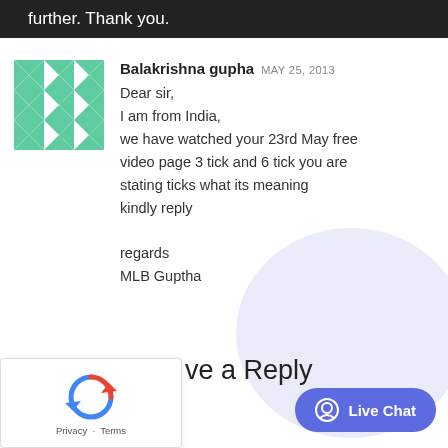further. Thank you.
Balakrishna gupha MAY 25, 2013
Dear sir,
I am from India,
we have watched your 23rd May free video page 3 tick and 6 tick you are stating ticks what its meaning kindly reply
regards
MLB Guptha
Leave a Reply
[Figure (logo): reCAPTCHA widget with circular arrows icon and Privacy · Terms text]
[Figure (other): Live Chat button with chat bubble icon]